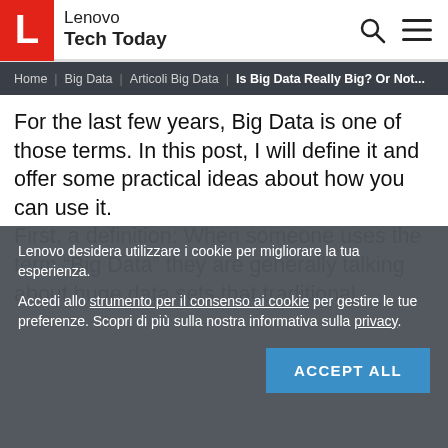Lenovo Tech Today
Home | Big Data | Articoli Big Data | Is Big Data Really Big? Or Not...
For the last few years, Big Data is one of those terms. In this post, I will define it and offer some practical ideas about how you can use it. First, a definition: When someone uses the term “Big Data” they are generally talking about huge data sets that traditional software is ill equipped to handle. Historically,
Lenovo desidera utilizzare i cookie per migliorare la tua esperienza.

Accedi allo strumento per il consenso ai cookie per gestire le tue preferenze. Scopri di più sulla nostra informativa sulla privacy.
ACCEPT ALL